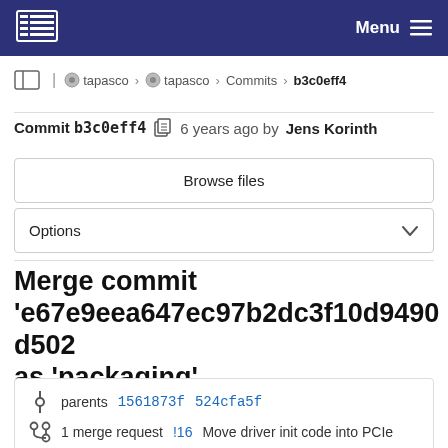Menu
tapasco › tapasco › Commits › b3c0eff4
Commit b3c0eff4  6 years ago by Jens Korinth
Browse files
Options
Merge commit 'e67e9eea647ec97b2dc3f10d9490d502 as 'packaging'
parents 1561873f 524cfa5f
1 merge request !16 Move driver init code into PCIe